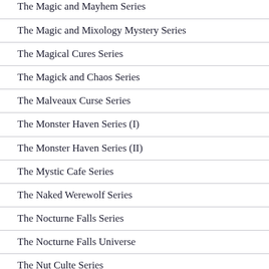The Magic and Mayhem Series
The Magic and Mixology Mystery Series
The Magical Cures Series
The Magick and Chaos Series
The Malveaux Curse Series
The Monster Haven Series (I)
The Monster Haven Series (II)
The Mystic Cafe Series
The Naked Werewolf Series
The Nocturne Falls Series
The Nocturne Falls Universe
The Nut Culte Series